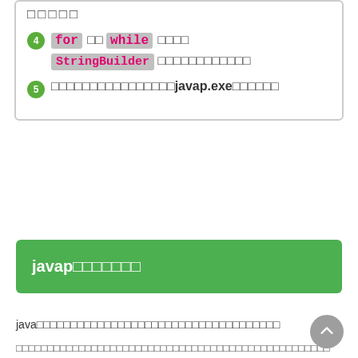□□□□□
4: for □□ while □□□□ StringBuilder □□□□□□□□□□□□
5: □□□□□□□□□□□□□□□□javap.exe□□□□□□
javap□□□□□□□
java□□□□□□□□□□□□□□□□□□□□□□□□□□□□□□□□□□□□
□□□□□□□□□□□□□□□□□□□□□□□□□□□□□□□□□□□□□□□□□□□□□□□□□□